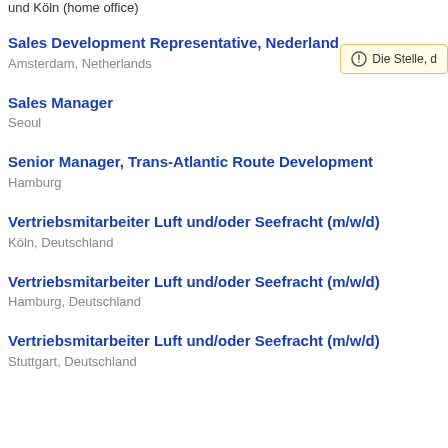und Köln (home office)
Sales Development Representative, Nederland
Amsterdam, Netherlands
Sales Manager
Seoul
Senior Manager, Trans-Atlantic Route Development
Hamburg
Vertriebsmitarbeiter Luft und/oder Seefracht (m/w/d)
Köln, Deutschland
Vertriebsmitarbeiter Luft und/oder Seefracht (m/w/d)
Hamburg, Deutschland
Vertriebsmitarbeiter Luft und/oder Seefracht (m/w/d)
Stuttgart, Deutschland